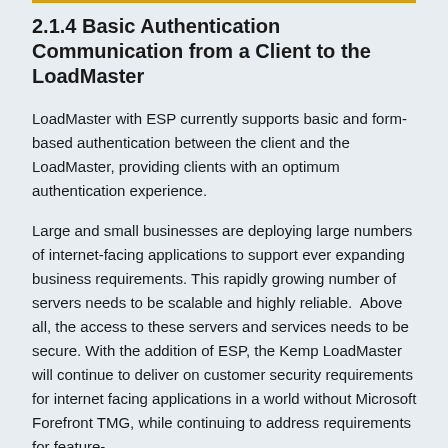2.1.4 Basic Authentication Communication from a Client to the LoadMaster
LoadMaster with ESP currently supports basic and form-based authentication between the client and the LoadMaster, providing clients with an optimum authentication experience.
Large and small businesses are deploying large numbers of internet-facing applications to support ever expanding business requirements. This rapidly growing number of servers needs to be scalable and highly reliable. Above all, the access to these servers and services needs to be secure. With the addition of ESP, the Kemp LoadMaster will continue to deliver on customer security requirements for internet facing applications in a world without Microsoft Forefront TMG, while continuing to address requirements for feature-